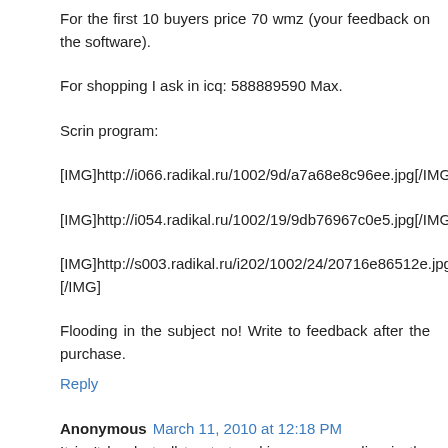For the first 10 buyers price 70 wmz (your feedback on the software).
For shopping I ask in icq: 588889590 Max.
Scrin program:
[IMG]http://i066.radikal.ru/1002/9d/a7a68e8c96ee.jpg[/IMG]
[IMG]http://i054.radikal.ru/1002/19/9db76967c0e5.jpg[/IMG]
[IMG]http://s003.radikal.ru/i202/1002/24/20716e86512e.jpg[/IMG]
Flooding in the subject no! Write to feedback after the purchase.
Reply
Anonymous March 11, 2010 at 12:18 PM
It isn't hard at all to start making money online in the underground world of